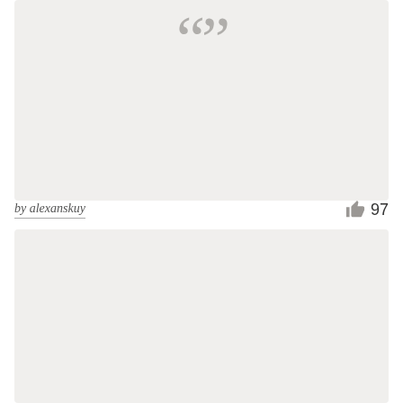[Figure (illustration): A light gray card/panel with large quotation mark characters at the top center, suggesting a quote card with empty content]
by alexanskuy
97
[Figure (illustration): A second light gray card/panel below, appearing to be another empty quote card]